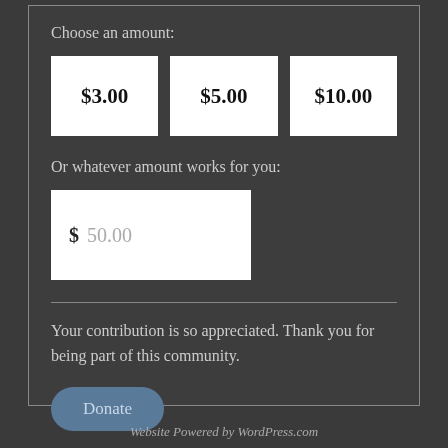Choose an amount:
$3.00
$5.00
$10.00
Or whatever amount works for you:
$ 50.00
Your contribution is so appreciated. Thank you for being part of this community.
Donate
Website Powered by WordPress.com